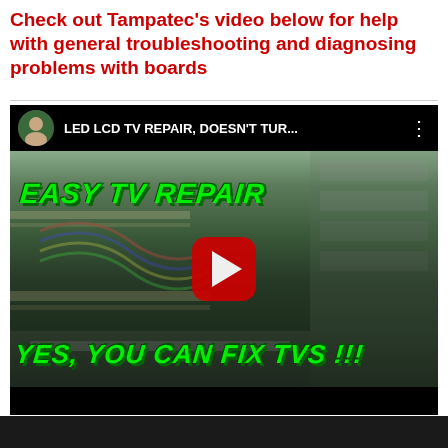Check out Tampatec's video below for help with general troubleshooting and diagnosing problems with boards
[Figure (screenshot): YouTube video thumbnail/embed showing 'LED LCD TV REPAIR, DOESN'T TUR...' by Tampatec channel. The video shows a person repairing the internal electronics of a TV with green text overlays reading 'EASY TV REPAIR' and 'YES, YOU CAN FIX TVS !!!' with a YouTube play button in the center.]